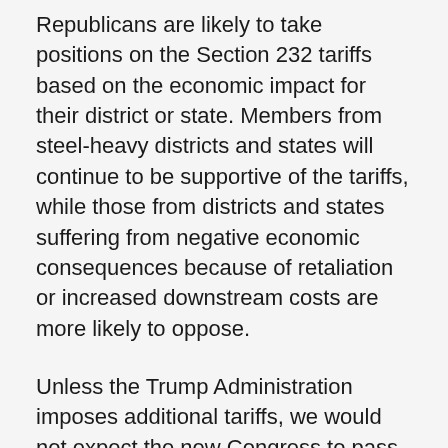Republicans are likely to take positions on the Section 232 tariffs based on the economic impact for their district or state. Members from steel-heavy districts and states will continue to be supportive of the tariffs, while those from districts and states suffering from negative economic consequences because of retaliation or increased downstream costs are more likely to oppose.
Unless the Trump Administration imposes additional tariffs, we would not expect the new Congress to pass legislation designed to restrict the president's Section 232 authority, as introduced by Senator Bob Corker (R-Tennessee) in the Senate and Representative Mike Gallagher (R-Wisconsin) in the House earlier this summer. That legislation did not have the votes to pass at the time, and the new Democratic majority in the